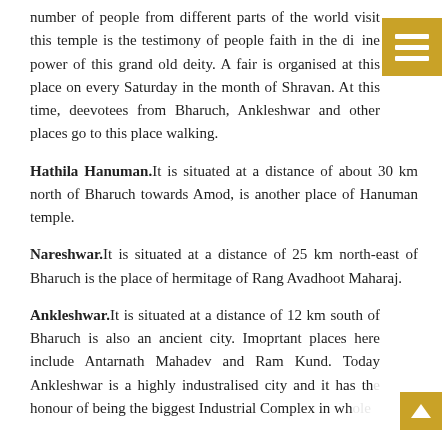number of people from different parts of the world visit this temple is the testimony of people faith in the divine power of this grand old deity. A fair is organised at this place on every Saturday in the month of Shravan. At this time, deevotees from Bharuch, Ankleshwar and other places go to this place walking.
Hathila Hanuman. It is situated at a distance of about 30 km north of Bharuch towards Amod, is another place of Hanuman temple.
Nareshwar. It is situated at a distance of 25 km north-east of Bharuch is the place of hermitage of Rang Avadhoot Maharaj.
Ankleshwar. It is situated at a distance of 12 km south of Bharuch is also an ancient city. Imoprtant places here include Antarnath Mahadev and Ram Kund. Today Ankleshwar is a highly industralised city and it has the honour of being the biggest Industrial Complex in whole of Asia.